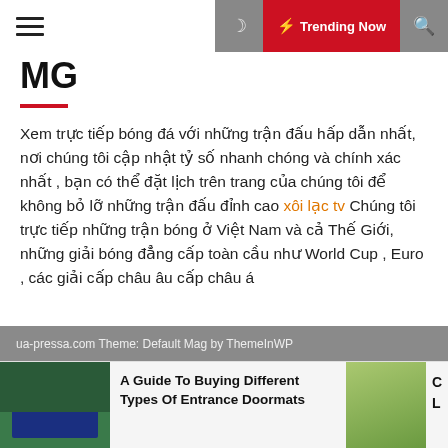MG | ⚡ Trending Now
MG
Xem trực tiếp bóng đá với những trận đấu hấp dẫn nhất, nơi chúng tôi cập nhật tỷ số nhanh chóng và chính xác nhất , bạn có thể đặt lịch trên trang của chúng tôi để không bỏ lỡ những trận đấu đỉnh cao xôi lạc tv Chúng tôi trực tiếp những trận bóng ở Việt Nam và cả Thế Giới, những giải bóng đẳng cấp toàn cầu như World Cup , Euro , các giải cấp châu âu cấp châu á
ua-pressa.com Theme: Default Mag by ThemeInWP
A Guide To Buying Different Types Of Entrance Doormats